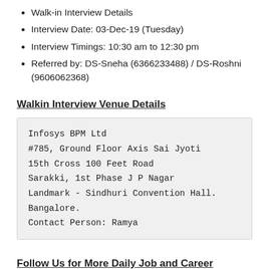Walk-in Interview Details
Interview Date: 03-Dec-19 (Tuesday)
Interview Timings: 10:30 am to 12:30 pm
Referred by: DS-Sneha (6366233488) / DS-Roshni (9606062368)
Walkin Interview Venue Details
Infosys BPM Ltd
#785, Ground Floor Axis Sai Jyoti
15th Cross 100 Feet Road
Sarakki, 1st Phase J P Nagar
Landmark - Sindhuri Convention Hall.
Bangalore.
Contact Person: Ramya
Follow Us for More Daily Job and Career Updates
[Figure (logo): Facebook logo icon in a rounded box]